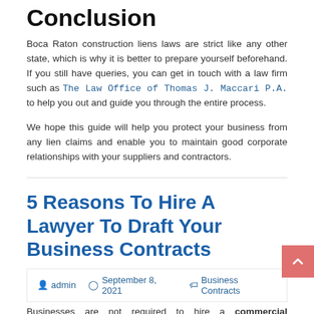Conclusion
Boca Raton construction liens laws are strict like any other state, which is why it is better to prepare yourself beforehand. If you still have queries, you can get in touch with a law firm such as The Law Office of Thomas J. Maccari P.A. to help you out and guide you through the entire process.
We hope this guide will help you protect your business from any lien claims and enable you to maintain good corporate relationships with your suppliers and contractors.
5 Reasons To Hire A Lawyer To Draft Your Business Contracts
admin   September 8, 2021   Business Contracts
Businesses are not required to hire a commercial collections